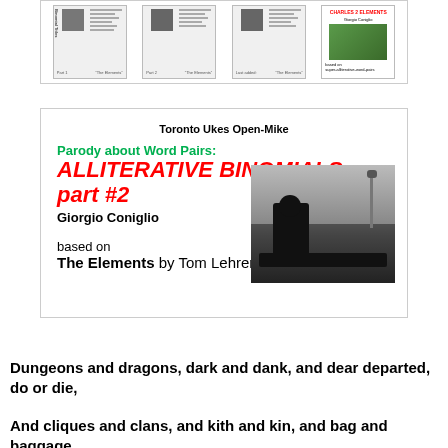[Figure (illustration): Strip of four small book/pamphlet cover thumbnails in a white bordered box at the top of the page]
[Figure (illustration): Card/flyer for Toronto Ukes Open-Mike parody about Word Pairs: Alliterative Binomials part #2 by Giorgio Coniglio, based on The Elements by Tom Lehrer, with a black and white photo of a man at a piano]
Dungeons and dragons, dark and dank, and dear departed, do or die,
And cliques and clans, and kith and kin, and bag and baggage,